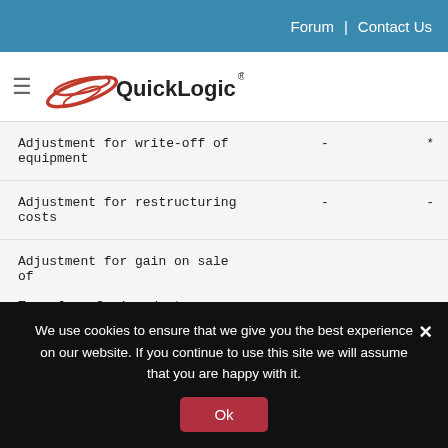Forum | Contact Us
[Figure (logo): QuickLogic logo with red swoosh graphic and company name]
| Description | Value1 | Value2 |
| --- | --- | --- |
| Adjustment for write-off of equipment | - | * |
| Adjustment for restructuring costs | - | - |
| Adjustment for gain on sale of TowerJazz Semiconductor Ltd. shares | (0.03  ) | - |
| Non-GAAP net loss per share | $ (0.01  ) | $ ( |
We use cookies to ensure that we give you the best experience on our website. If you continue to use this site we will assume that you are happy with it.